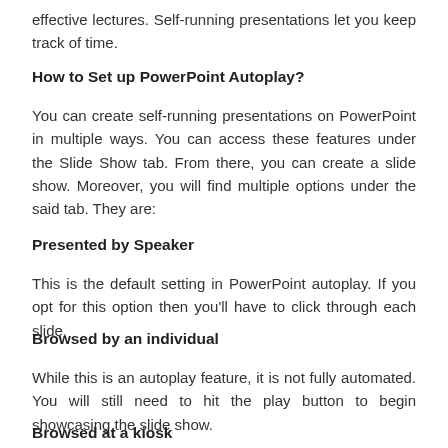effective lectures. Self-running presentations let you keep track of time.
How to Set up PowerPoint Autoplay?
You can create self-running presentations on PowerPoint in multiple ways. You can access these features under the Slide Show tab. From there, you can create a slide show. Moreover, you will find multiple options under the said tab. They are:
Presented by Speaker
This is the default setting in PowerPoint autoplay. If you opt for this option then you'll have to click through each slide.
Browsed by an individual
While this is an autoplay feature, it is not fully automated. You will still need to hit the play button to begin showcasing the slide show.
Browsed at a kiosk